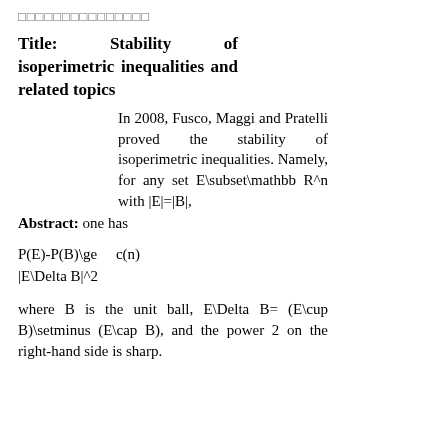□□□□□□□□□□□□□□□
Title: Stability of isoperimetric inequalities and related topics
In 2008, Fusco, Maggi and Pratelli proved the stability of isoperimetric inequalities. Namely, for any set E\subset\mathbb R^n with |E|=|B|,
Abstract: one has
where B is the unit ball, E\Delta B= (E\cup B)\setminus (E\cap B), and the power 2 on the right-hand side is sharp.